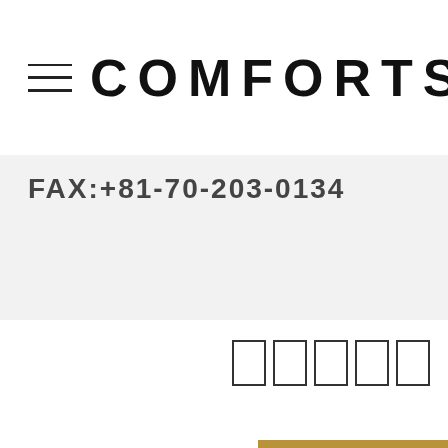COMFORTS
FAX:+81-70-203-0134
[Figure (other): Five empty rectangular boxes arranged in a row, with a thin gold/brown horizontal bar below on the right side of the page]